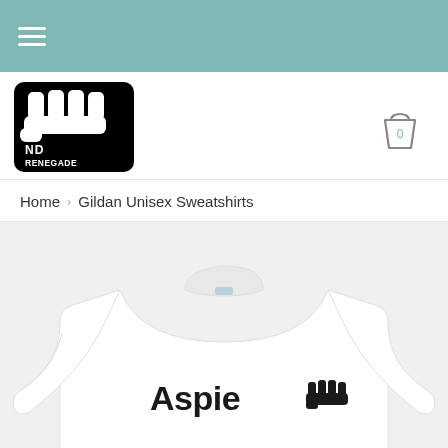Navigation bar with hamburger menu
[Figure (logo): ND Renegade logo — black square with fist graphic and text ND RENEGADE]
[Figure (other): Shopping cart icon with 0 badge]
Home > Gildan Unisex Sweatshirts
[Figure (photo): White Gildan unisex sweatshirt with text 'Aspie' and fist emoji printed on the front in black]